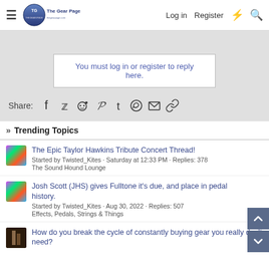The Gear Page — Log in | Register
You must log in or register to reply here.
Share:
» Trending Topics
The Epic Taylor Hawkins Tribute Concert Thread! — Started by Twisted_Kites · Saturday at 12:33 PM · Replies: 378 — The Sound Hound Lounge
Josh Scott (JHS) gives Fulltone it's due, and place in pedal history. — Started by Twisted_Kites · Aug 30, 2022 · Replies: 507 — Effects, Pedals, Strings & Things
How do you break the cycle of constantly buying gear you really don't need?